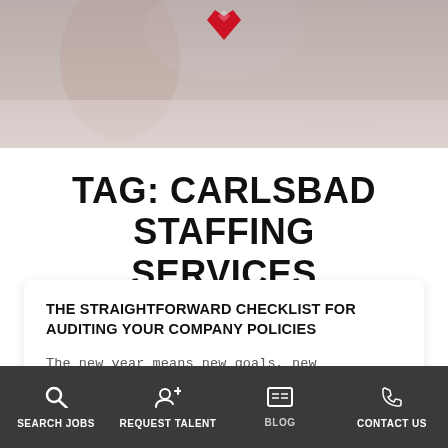[Figure (photo): Hero image showing people in an office/business setting with a red heart/diamond logo icon at the top center]
TAG: CARLSBAD STAFFING SERVICES
THE STRAIGHTFORWARD CHECKLIST FOR AUDITING YOUR COMPANY POLICIES
The new year means new goals, new resolutions… and a host of *housekeeping* chores for your business. In addition to conducting annual
SEARCH JOBS | REQUEST TALENT | BLOG | CONTACT US